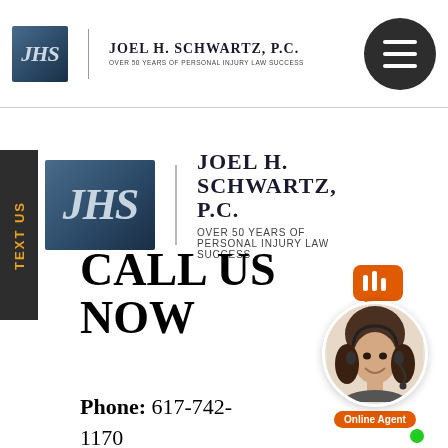[Figure (logo): Joel H. Schwartz P.C. law firm logo in top navigation bar with JHS initials box, vertical divider, firm name and tagline, and hamburger menu circle on right]
[Figure (logo): Joel H. Schwartz P.C. larger logo in main content area with JHS initials box, vertical divider, firm name JOEL H. SCHWARTZ, P.C. and tagline Over 50 Years of Personal Injury Law Success. TEXT US sidebar on left.]
CALL US NOW
Phone: 617-742-1170
[Figure (illustration): Online agent chat widget showing an orange speech bubble icon with bar chart lines, a circular headshot photo of a smiling woman with headset, a green online indicator dot, and an orange label reading Online Agent]